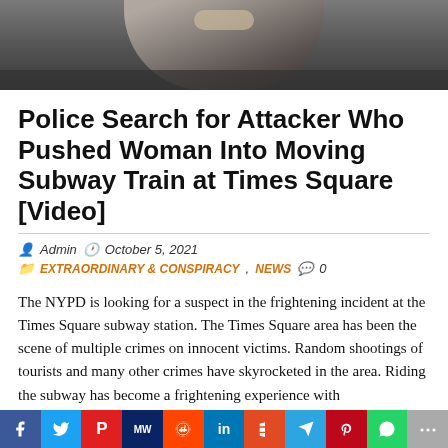[Figure (photo): Top portion of a photo showing a person in dark clothing, cropped to show chest/shoulder area at a subway station]
Police Search for Attacker Who Pushed Woman Into Moving Subway Train at Times Square [Video]
Admin  October 5, 2021  EXTRAORDINARY & CONSPIRACY, NEWS  0
The NYPD is looking for a suspect in the frightening incident at the Times Square subway station. The Times Square area has been the scene of multiple crimes on innocent victims. Random shootings of tourists and many other crimes have skyrocketed in the area. Riding the subway has become a frightening experience with
[Figure (infographic): Social media sharing bar with buttons for Facebook, Twitter, Parler, MeWe, Reddit, LinkedIn, Flipboard, Telegram, Pinterest, WhatsApp, More]